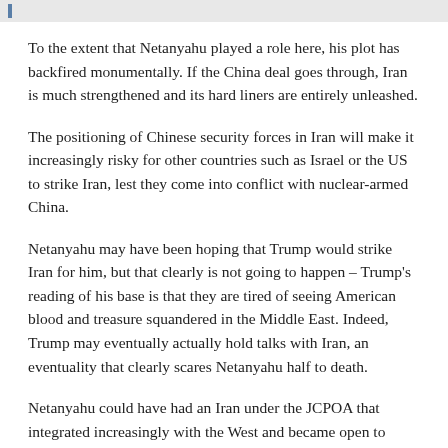To the extent that Netanyahu played a role here, his plot has backfired monumentally. If the China deal goes through, Iran is much strengthened and its hard liners are entirely unleashed.
The positioning of Chinese security forces in Iran will make it increasingly risky for other countries such as Israel or the US to strike Iran, lest they come into conflict with nuclear-armed China.
Netanyahu may have been hoping that Trump would strike Iran for him, but that clearly is not going to happen – Trump's reading of his base is that they are tired of seeing American blood and treasure squandered in the Middle East. Indeed, Trump may eventually actually hold talks with Iran, an eventuality that clearly scares Netanyahu half to death.
Netanyahu could have had an Iran under the JCPOA that integrated increasingly with the West and became open to